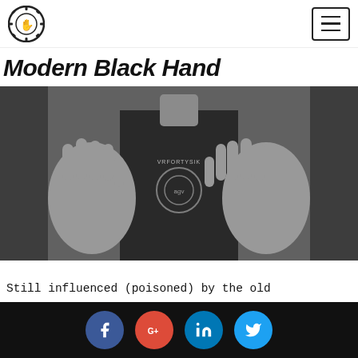Modern Black Hand — navigation logo and hamburger menu
Modern Black Hand
[Figure (photo): Black and white photo of a person in a VRFORTYSIK t-shirt showing both hands open toward the camera, in what appears to be a motorcycle shop]
Still influenced (poisoned) by the old Chinese motto: “No occupation except
Social share buttons: Facebook, Google+, LinkedIn, Twitter